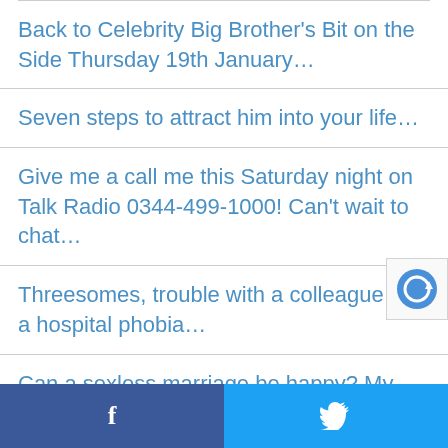Back to Celebrity Big Brother's Bit on the Side Thursday 19th January…
Seven steps to attract him into your life…
Give me a call me this Saturday night on Talk Radio 0344-499-1000! Can't wait to chat…
Threesomes, trouble with a colleague and a hospital phobia…
Can a sexless marriage be happy? My comment in today's Mirror…
Here are the five fantasies he'll never tell yo…